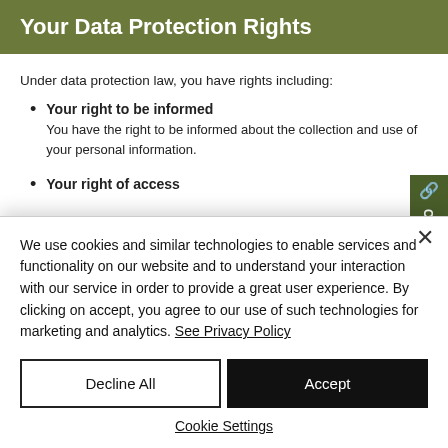Your Data Protection Rights
Under data protection law, you have rights including:
Your right to be informed — You have the right to be informed about the collection and use of your personal information.
Your right of access
We use cookies and similar technologies to enable services and functionality on our website and to understand your interaction with our service in order to provide a great user experience. By clicking on accept, you agree to our use of such technologies for marketing and analytics. See Privacy Policy
Decline All
Accept
Cookie Settings